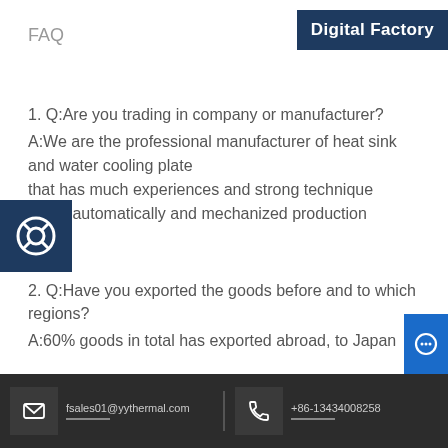FAQ
Digital Factory
1. Q:Are you trading in company or manufacturer?
A:We are the professional manufacturer of heat sink and water cooling plate that has much experiences and strong technique team, automatically and mechanized production
2. Q:Have you exported the goods before and to which regions?
A:60% goods in total has exported abroad, to Japan
fsales01@yythermal.com   +86-13434008258